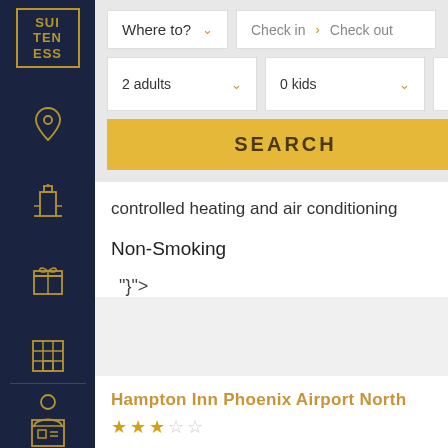[Figure (logo): Suiteness logo - gold bordered box with letters SUI TEN ESS on dark navy sidebar]
[Figure (infographic): Sidebar navigation icons: location pin, tower/building, gift box, grid/building, calendar/ID card, and person/account icon at bottom]
Where to?
Check in > Check out
2 adults
0 kids
Any bedrooms
SEARCH
controlled heating and air conditioning
Non-Smoking
"}">
Hampton Inn Phoenix Airport North
★★★☆☆